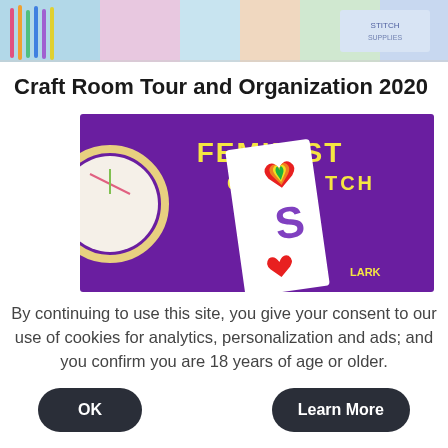[Figure (photo): Top portion of a craft room image showing colorful threads and craft supplies, partially cropped at top of page]
Craft Room Tour and Organization 2020
[Figure (photo): Photo of a purple book titled 'FEMINIST CROSS STITCH' with a bookmark featuring rainbow heart designs and the letter S, partially cropped at the bottom]
By continuing to use this site, you give your consent to our use of cookies for analytics, personalization and ads; and you confirm you are 18 years of age or older.
OK
Learn More